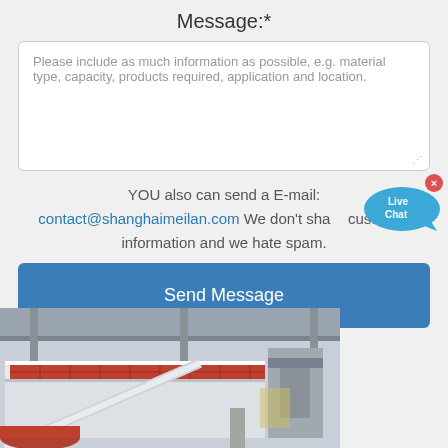Message:*
Please include as much information as possible, e.g. material type, capacity, products required, application and location.
YOU also can send a E-mail: contact@shanghaimeilan.com We don't share customer information and we hate spam.
[Figure (screenshot): Live Chat bubble/icon in blue]
Send Message
[Figure (photo): Industrial factory interior showing vibrating screen or conveyor equipment with red and white panels, warehouse setting]